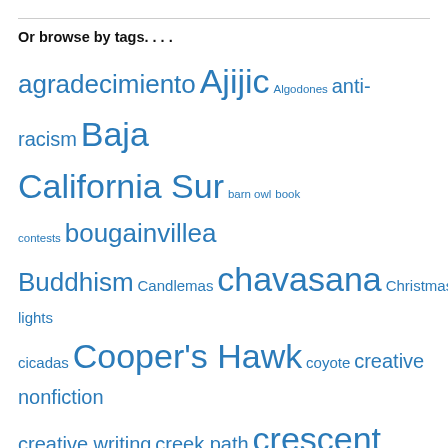Or browse by tags. . . .
agradecimiento Ajijic Algodones anti-racism Baja California Sur barn owl book contests bougainvillea Buddhism Candlemas chavasana Christmas Christmas lights cicadas Cooper's Hawk coyote creative nonfiction creative writing creek path crescent moon crickets Day of the Dead dia de los muertos Dogs egret goldfinch grackles haiku house finch house finches House Sparrows hummingbird kindness La Casa Azul mango meditation metta Mexican birds of paradise mindfulness mockingbird moon mourning doves namaste